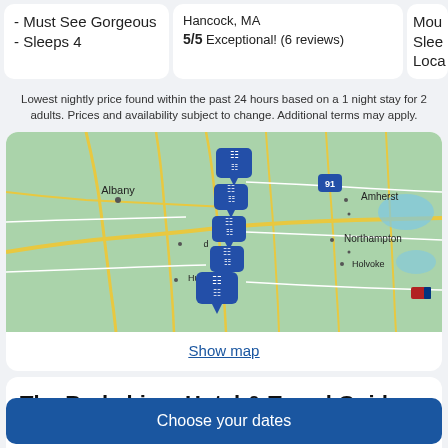- Must See Gorgeous - Sleeps 4
Hancock, MA
5/5 Exceptional! (6 reviews)
Mou Slee Loca
Lowest nightly price found within the past 24 hours based on a 1 night stay for 2 adults. Prices and availability subject to change. Additional terms may apply.
[Figure (map): Map showing the Berkshires/Albany area with hotel location pins. Shows Albany, Hudson, Amherst, Northampton, Holvoke. Blue hotel marker pins clustered in center.]
Show map
The Berkshires Hotel & Travel Guide
Are you on the hunt for a getaway that's truly away from it all? You can't go wrong with a trip to The Berkshires. With its
Choose your dates